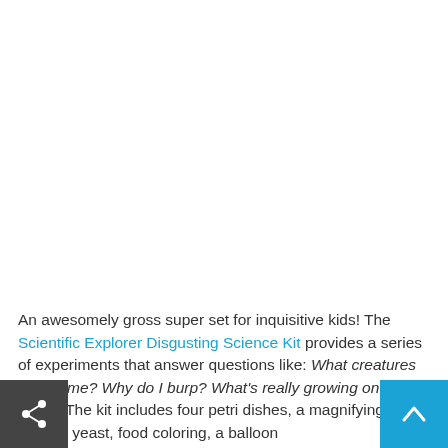An awesomely gross super set for inquisitive kids! The Scientific Explorer Disgusting Science Kit provides a series of experiments that answer questions like: What creatures live on me? Why do I burp? What's really growing on my teeth? The kit includes four petri dishes, a magnifying glass, gelatin, yeast, food coloring, a balloon